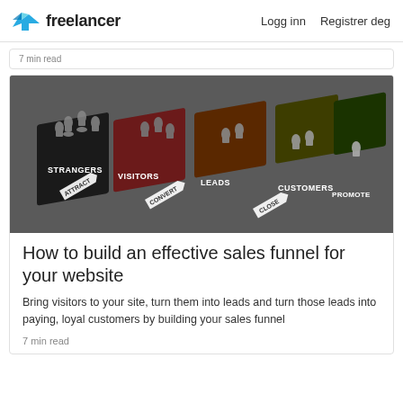freelancer   Logg inn   Registrer deg
7 min read
[Figure (photo): Sales funnel infographic with chess pawns on labeled stages: STRANGERS, VISITORS, LEADS, CUSTOMERS, PROMOTER with arrows labeled ATTRACT, CONVERT, CLOSE]
How to build an effective sales funnel for your website
Bring visitors to your site, turn them into leads and turn those leads into paying, loyal customers by building your sales funnel
7 min read